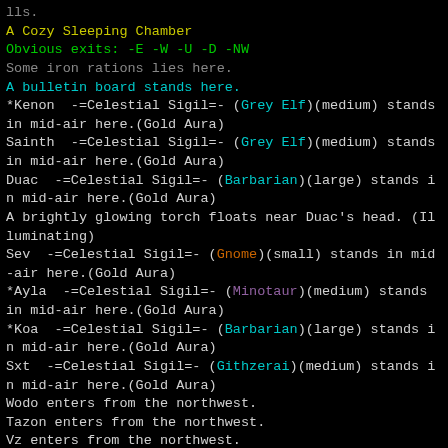lls.
A Cozy Sleeping Chamber
Obvious exits: -E -W -U -D -NW
Some iron rations lies here.
A bulletin board stands here.
*Kenon  -=Celestial Sigil=- (Grey Elf)(medium) stands in mid-air here.(Gold Aura)
Sainth  -=Celestial Sigil=- (Grey Elf)(medium) stands in mid-air here.(Gold Aura)
Duac  -=Celestial Sigil=- (Barbarian)(large) stands in mid-air here.(Gold Aura)
A brightly glowing torch floats near Duac's head. (Illuminating)
Sev  -=Celestial Sigil=- (Gnome)(small) stands in mid-air here.(Gold Aura)
*Ayla  -=Celestial Sigil=- (Minotaur)(medium) stands in mid-air here.(Gold Aura)
*Koa  -=Celestial Sigil=- (Barbarian)(large) stands in mid-air here.(Gold Aura)
Sxt  -=Celestial Sigil=- (Githzerai)(medium) stands in mid-air here.(Gold Aura)
Wodo enters from the northwest.
Tazon enters from the northwest.
Vz enters from the northwest.